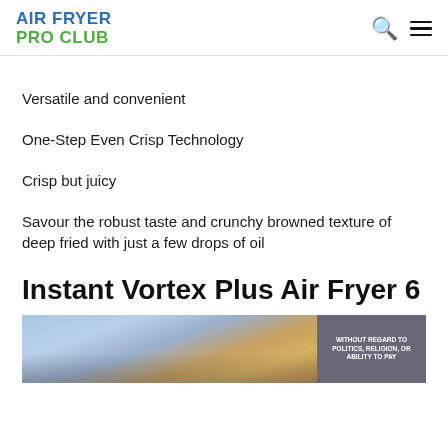AIR FRYER PRO CLUB
Versatile and convenient
One-Step Even Crisp Technology
Crisp but juicy
Savour the robust taste and crunchy browned texture of deep fried with just a few drops of oil
Instant Vortex Plus Air Fryer 6
[Figure (photo): Advertisement photo showing an airplane being loaded with cargo at an airport. An overlay banner on the right reads 'WITHOUT REGARD TO POLITICS, RELIGION, OR ABILITY TO PAY'.]